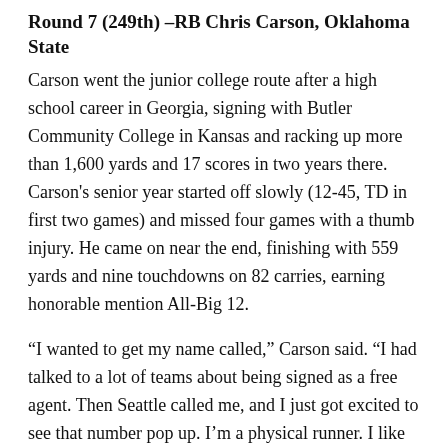Round 7 (249th) –RB Chris Carson, Oklahoma State
Carson went the junior college route after a high school career in Georgia, signing with Butler Community College in Kansas and racking up more than 1,600 yards and 17 scores in two years there. Carson's senior year started off slowly (12-45, TD in first two games) and missed four games with a thumb injury. He came on near the end, finishing with 559 yards and nine touchdowns on 82 carries, earning honorable mention All-Big 12.
“I wanted to get my name called,” Carson said. “I had talked to a lot of teams about being signed as a free agent. Then Seattle called me, and I just got excited to see that number pop up. I’m a physical runner. I like to break tackles, get hard yards. I just like to make people miss and I’m not afraid of contact.”